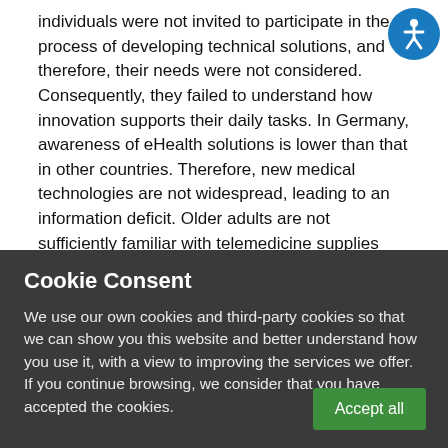individuals were not invited to participate in the process of developing technical solutions, and therefore, their needs were not considered. Consequently, they failed to understand how innovation supports their daily tasks. In Germany, awareness of eHealth solutions is lower than that in other countries. Therefore, new medical technologies are not widespread, leading to an information deficit. Older adults are not sufficiently familiar with telemedicine supplies and products, and this lack of awareness is aggravated by the paucity of cross-functional interactions among various health care sectors. As no reliable and protected nationwide infrastructure exists, deficiencies in the quality of care and
[Figure (other): Accessibility icon — blue circle with white wheelchair/person symbol]
Cookie Consent
We use our own cookies and third-party cookies so that we can show you this website and better understand how you use it, with a view to improving the services we offer. If you continue browsing, we consider that you have accepted the cookies.